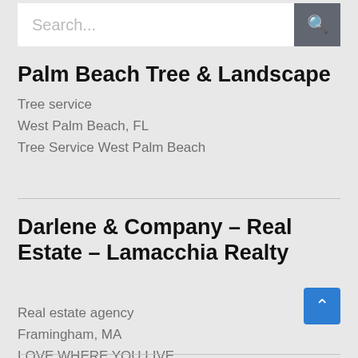[Figure (screenshot): Search bar with placeholder text 'Search...' and a dark grey search button with magnifying glass icon]
Palm Beach Tree & Landscape
Tree service
West Palm Beach, FL
Tree Service West Palm Beach
Darlene & Company – Real Estate – Lamacchia Realty
Real estate agency
Framingham, MA
LOVE WHERE YOU LIVE